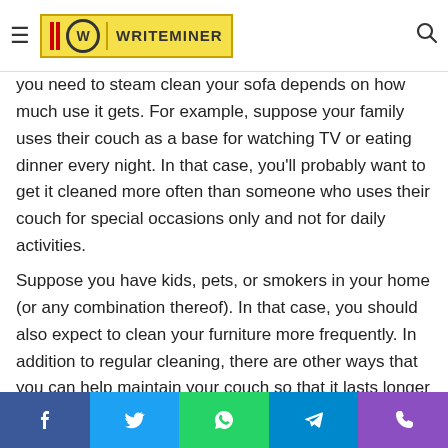WRITEMINER
you need to steam clean your sofa depends on how much use it gets. For example, suppose your family uses their couch as a base for watching TV or eating dinner every night. In that case, you'll probably want to get it cleaned more often than someone who uses their couch for special occasions only and not for daily activities.
Suppose you have kids, pets, or smokers in your home (or any combination thereof). In that case, you should also expect to clean your furniture more frequently. In addition to regular cleaning, there are other ways that you can help maintain your couch so that it lasts longer and stays looking nice for years to come. If possible, try not to place heavy objects on top of cushions; instead, put them directly on top of the frame so
Facebook | Twitter | WhatsApp | Telegram | Phone